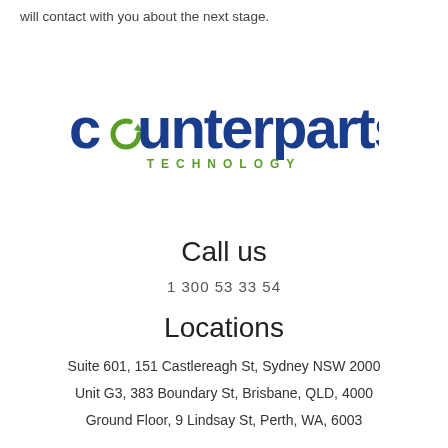will contact with you about the next stage.
[Figure (logo): Counterparts Technology logo — 'counterparts' in dark blue bold lowercase with a green circular arrow replacing the 'o', and 'TECHNOLOGY' in green spaced capitals below]
Call us
1 300 53 33 54
Locations
Suite 601, 151 Castlereagh St, Sydney NSW 2000
Unit G3, 383 Boundary St, Brisbane, QLD, 4000
Ground Floor, 9 Lindsay St, Perth, WA, 6003